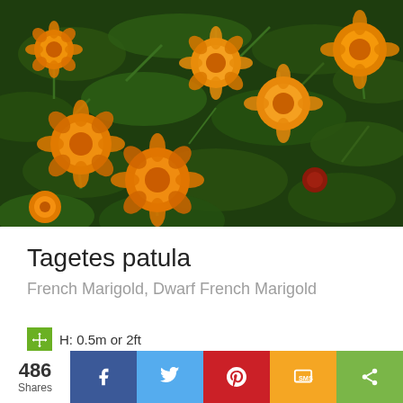[Figure (photo): Photograph of Tagetes patula (French Marigold) showing multiple orange and yellow blooms with dark green foliage.]
Tagetes patula
French Marigold, Dwarf French Marigold
H: 0.5m or 2ft
Zones: 2 to 11
486 Shares